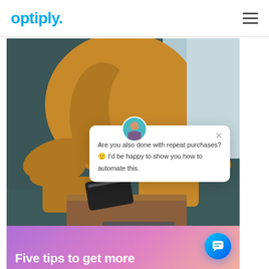optiply.
[Figure (screenshot): Website screenshot showing the Optiply homepage with a person wearing a mustard/golden sweater reaching for something on a wooden surface. A chat popup overlay reads: 'Are you also done with repeat purchases? 😊 I'd be happy to show you how to automate this.' with an avatar and close button. Bottom of image has a purple-pink gradient with white text 'Five tips to get more']
Are you also done with repeat purchases? 😊 I'd be happy to show you how to automate this.
Five tips to get more